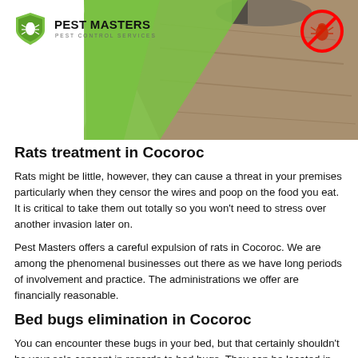[Figure (photo): Header area with Pest Masters logo on left (green shield with bug icon, bold text PEST MASTERS, subtitle PEST CONTROL SERVICES), a photo of outdoor ground/pavement on the right side with a green triangle decorative element, and a red 'no bugs' prohibition sign (circle with slash) in top right corner.]
Rats treatment in Cocoroc
Rats might be little, however, they can cause a threat in your premises particularly when they censor the wires and poop on the food you eat. It is critical to take them out totally so you won't need to stress over another invasion later on.
Pest Masters offers a careful expulsion of rats in Cocoroc. We are among the phenomenal businesses out there as we have long periods of involvement and practice. The administrations we offer are financially reasonable.
Bed bugs elimination in Cocoroc
You can encounter these bugs in your bed, but that certainly shouldn't be your sole concept in regards to bed bugs. They can be located in any piece of furniture.